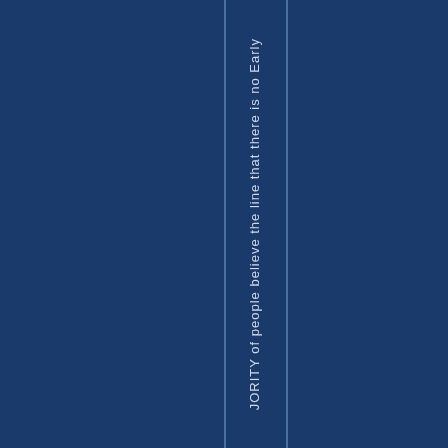JORITY of people believe the line that there is no Early